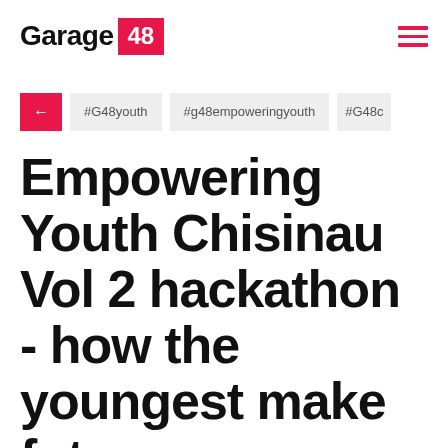Garage 48
#G48youth
#g48empoweringyouth
#G48c
Empowering Youth Chisinau Vol 2 hackathon - how the youngest make future
Facebook • Twitter • LinkedIn